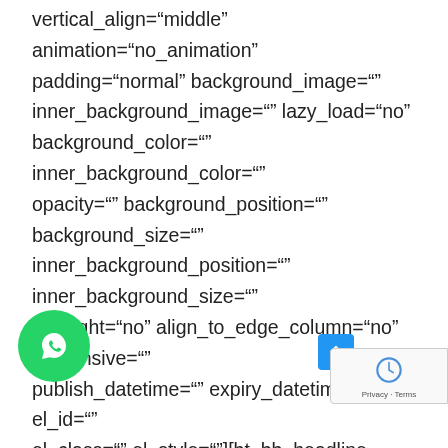vertical_align="middle" animation="no_animation" padding="normal" background_image="" inner_background_image="" lazy_load="no" background_color="" inner_background_color="" opacity="" background_position="" background_size="" inner_background_position="" inner_background_size="" highlight="no" align_to_edge_column="no" responsive="" publish_datetime="" expiry_datetime="" el_id="" el_class="" el_style=""][bt_bb_headline font_subset="latin,latin-ext" superheadline="" headline="Service element" subheadline="" excerpt_text="" html_tag="h3" size="normal" align="inherit" dash="none" color_scheme="" color="" font_family="inherit" font_size="" font_weight="" url="" target="_self" responsive="" publish_datetime=""
[Figure (other): WhatsApp floating button (green circle with phone icon)]
[Figure (other): Scroll-to-top blue arrow button]
[Figure (other): reCAPTCHA badge bottom right]